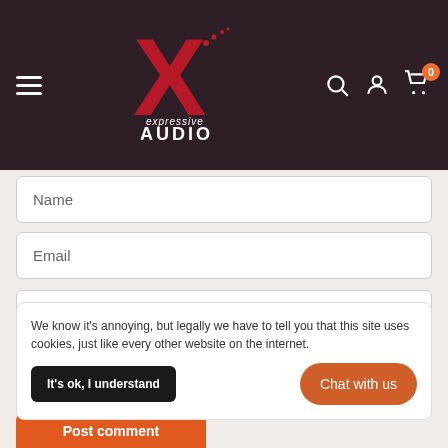[Figure (logo): Expressive Audio logo with large X in red and white text 'expressive AUDIO' on dark maroon background with navigation icons]
Name
Email
Content
We know it's annoying, but legally we have to tell you that this site uses cookies, just like every other website on the internet.
It's ok, I understand
Chat with us
Post comment